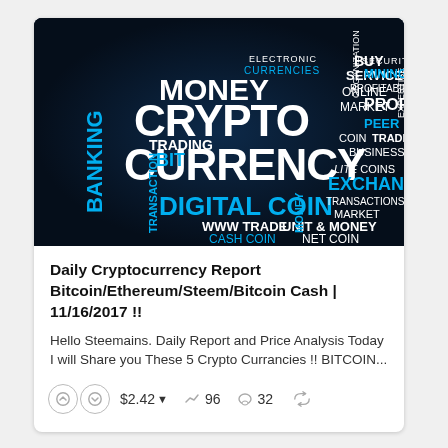[Figure (illustration): Cryptocurrency word cloud on dark blue/navy background featuring words: CRYPTO CURRENCY, DIGITAL COIN, MONEY, BITCOIN, BANKING, TRADING, BIT, ELECTRONIC CURRENCIES, BUY SERVICES, ONLINE MARKET, ORGANIZATION, EXPERTISE, SECURITY, MINING, PROFITABILITY, PROFIT, PEER, COIN, TRADE, BUSINESS, LITE COINS, EXCHANGE, TRANSACTIONS, MARKET, UNIT & MONEY, NET COIN, CASH COIN, WWW TRADE, MONEY, TRANSACTION. Words appear in white and cyan/teal colors of varying sizes.]
Daily Cryptocurrency Report Bitcoin/Ethereum/Steem/Bitcoin Cash | 11/16/2017 !!
Hello Steemains. Daily Report and Price Analysis Today I will Share you These 5 Crypto Currancies !! BITCOIN...